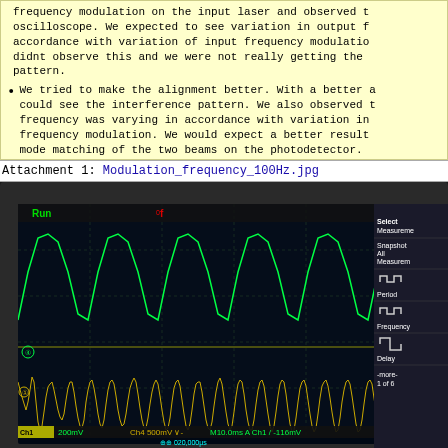frequency modulation on the input laser and observed the oscilloscope. We expected to see variation in output f in accordance with variation of input frequency modulation. didnt observe this and we were not really getting the pattern.
We tried to make the alignment better. With a better a could see the interference pattern. We also observed the frequency was varying in accordance with variation in frequency modulation. We would expect a better result mode matching of the two beams on the photodetector.
Attachment 1: Modulation_frequency_100Hz.jpg
[Figure (photo): Oscilloscope screenshot showing two waveform channels. Green channel (Ch1) shows sinusoidal wave at 380.2 Hz, yellow channel (Ch4) shows higher frequency signal. Display shows measurements: Delta 488mV, @508mV, Ch1 Freq 380.2 Hz, Ch4 Max. Settings show Ch1 200mV, Ch4 500mV, M10.0ms, A Ch1 trigger at -116mV, time offset 020.000us. Status shows Run, Trig'd. Right panel shows Select Measurement, Snapshot All Measurements, Period, Frequency, Delay, -more- 1 of 6 buttons.]